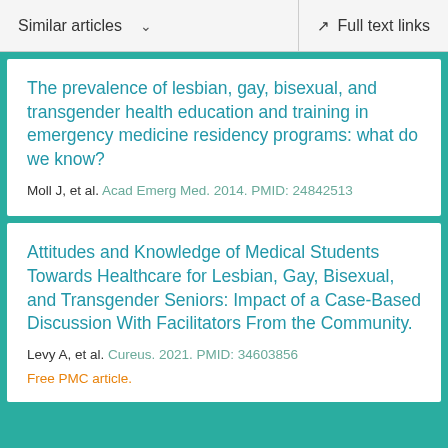Similar articles   ∨   Full text links
The prevalence of lesbian, gay, bisexual, and transgender health education and training in emergency medicine residency programs: what do we know?
Moll J, et al. Acad Emerg Med. 2014. PMID: 24842513
Attitudes and Knowledge of Medical Students Towards Healthcare for Lesbian, Gay, Bisexual, and Transgender Seniors: Impact of a Case-Based Discussion With Facilitators From the Community.
Levy A, et al. Cureus. 2021. PMID: 34603856
Free PMC article.